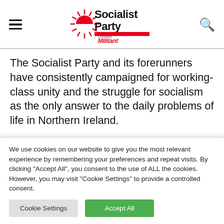Socialist Party — Formerly Militant (logo with hamburger menu and search icon)
The Socialist Party and its forerunners have consistently campaigned for working-class unity and the struggle for socialism as the only answer to the daily problems of life in Northern Ireland.
Socialists now often have to fight to overcome the
We use cookies on our website to give you the most relevant experience by remembering your preferences and repeat visits. By clicking "Accept All", you consent to the use of ALL the cookies. However, you may visit "Cookie Settings" to provide a controlled consent.